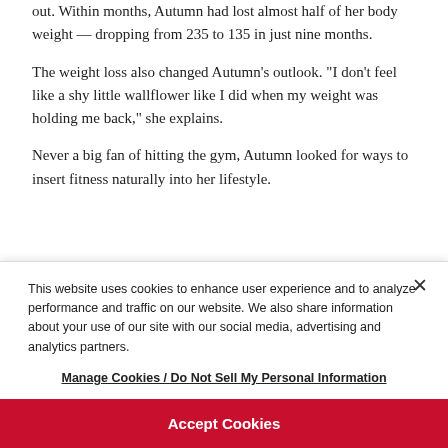out. Within months, Autumn had lost almost half of her body weight — dropping from 235 to 135 in just nine months.
The weight loss also changed Autumn's outlook. "I don't feel like a shy little wallflower like I did when my weight was holding me back," she explains.
Never a big fan of hitting the gym, Autumn looked for ways to insert fitness naturally into her lifestyle.
This website uses cookies to enhance user experience and to analyze performance and traffic on our website. We also share information about your use of our site with our social media, advertising and analytics partners.
Manage Cookies / Do Not Sell My Personal Information
Accept Cookies